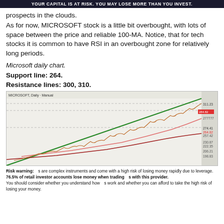YOUR CAPITAL IS AT RISK. YOU MAY LOSE MORE THAN YOU INVEST.
prospects in the clouds.
As for now, MICROSOFT stock is a little bit overbought, with lots of space between the price and reliable 100-MA. Notice, that for tech stocks it is common to have RSI in an overbought zone for relatively long periods.
Microsoft daily chart.
Support line: 264.
Resistance lines: 300, 310.
[Figure (continuous-plot): Microsoft daily stock chart showing upward trending candlestick price action with two moving average lines (pink/red curves) and a green channel line. Dashed horizontal lines mark resistance levels around 300 and 310. Price label visible at approximately 284.82. Y-axis labels include 274.41, 264.82, 257.42, 230.87, 222.35, 206.21, 198.83.]
Risk warning: s are complex instruments and come with a high risk of losing money rapidly due to leverage.
76.5% of retail investor accounts lose money when trading s with this provider.
You should consider whether you understand how s work and whether you can afford to take the high risk of losing your money.